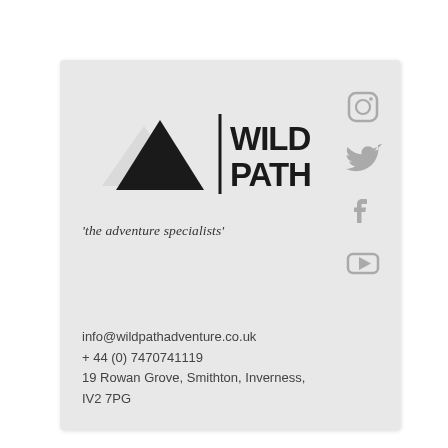[Figure (logo): Wild Path logo: mountain triangle icon with vertical bar divider and bold text WILD PATH. Tagline in italic script: 'the adventure specialists']
[Figure (illustration): Social media icons column on right side: Instagram, Twitter (bird), Facebook (f), YouTube (play button) — all in grey]
info@wildpathadventure.co.uk
+ 44 (0) 7470741119
19 Rowan Grove, Smithton, Inverness, IV2 7PG